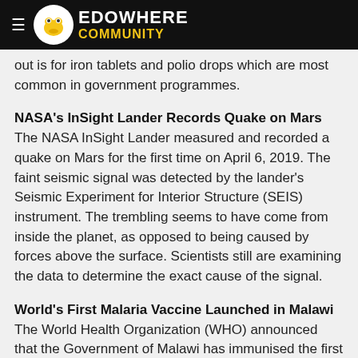EDOWHERE COMMUNITY
out is for iron tablets and polio drops which are most common in government programmes.
NASA's InSight Lander Records Quake on Mars
The NASA InSight Lander measured and recorded a quake on Mars for the first time on April 6, 2019. The faint seismic signal was detected by the lander's Seismic Experiment for Interior Structure (SEIS) instrument. The trembling seems to have come from inside the planet, as opposed to being caused by forces above the surface. Scientists still are examining the data to determine the exact cause of the signal.
World's First Malaria Vaccine Launched in Malawi
The World Health Organization (WHO) announced that the Government of Malawi has immunised the first children with the world's first malaria vaccine. The RTS,S/AS01 (RTS,S) vaccine under the trade name Mosquirix, has been in development since the 1980s by researchers at pharmaceutical company GlaxoSmithKline (GSK).